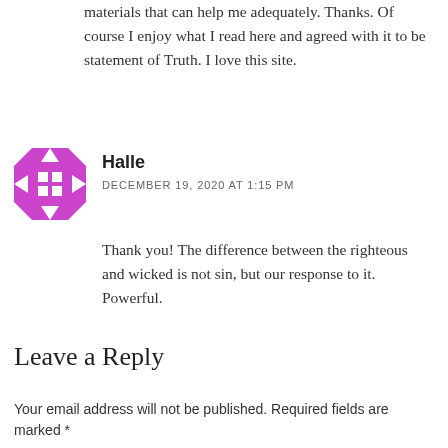materials that can help me adequately. Thanks. Of course I enjoy what I read here and agreed with it to be statement of Truth. I love this site.
Halle
DECEMBER 19, 2020 AT 1:15 PM
Thank you! The difference between the righteous and wicked is not sin, but our response to it. Powerful.
Leave a Reply
Your email address will not be published. Required fields are marked *